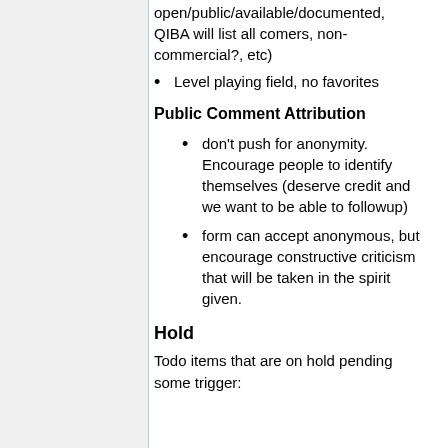open/public/available/documented, QIBA will list all comers, non-commercial?, etc)
Level playing field, no favorites
Public Comment Attribution
don't push for anonymity. Encourage people to identify themselves (deserve credit and we want to be able to followup)
form can accept anonymous, but encourage constructive criticism that will be taken in the spirit given.
Hold
Todo items that are on hold pending some trigger: